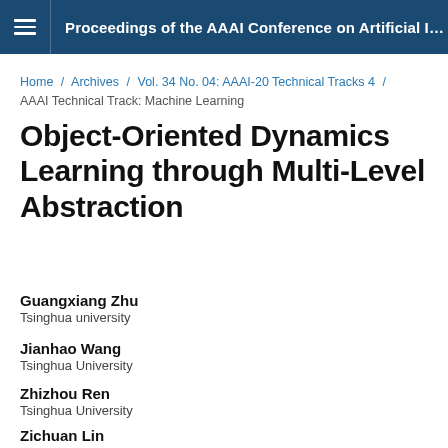Proceedings of the AAAI Conference on Artificial Intelli...
Home / Archives / Vol. 34 No. 04: AAAI-20 Technical Tracks 4 / AAAI Technical Track: Machine Learning
Object-Oriented Dynamics Learning through Multi-Level Abstraction
Guangxiang Zhu
Tsinghua university
Jianhao Wang
Tsinghua University
Zhizhou Ren
Tsinghua University
Zichuan Lin
Tsinghua University